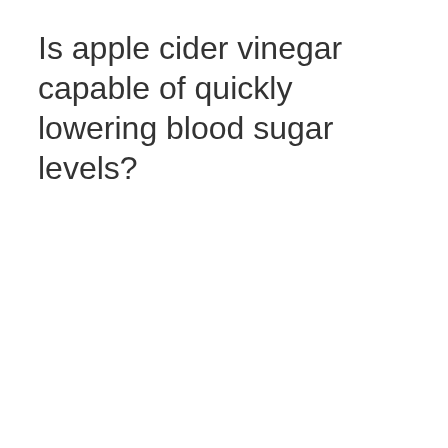Is apple cider vinegar capable of quickly lowering blood sugar levels?